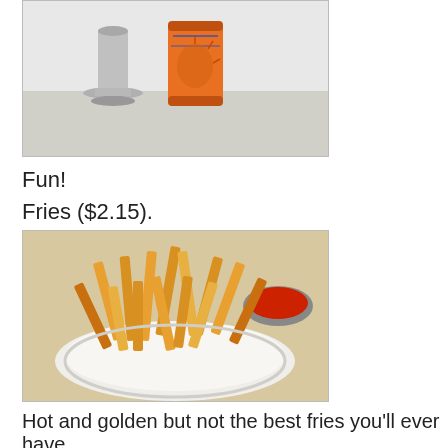[Figure (photo): Photo of a silver milkshake cup and an orange soda can on a light surface]
Fun!
Fries ($2.15).
[Figure (photo): Photo of a plate of golden french fries with a small bowl of ketchup in the background]
Hot and golden but not the best fries you'll ever have.
Hickoryburger ($6.50) with cheese ($0.50).
[Figure (photo): Photo of a hickoryburger with cheese, partially visible at bottom of page]